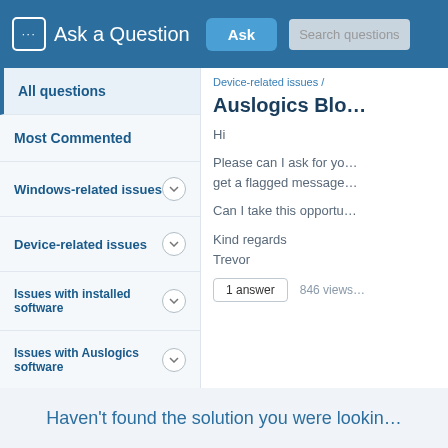Ask a Question | Ask | Search questions
Device-related issues /
Auslogics Blo…
Hi

Please can I ask for yo… get a flagged message…

Can I take this opportu…

Kind regards
Trevor
1 answer   846 views
All questions
Most Commented
Windows-related issues
Device-related issues
Issues with installed software
Issues with Auslogics software
Haven't found the solution you were lookin…